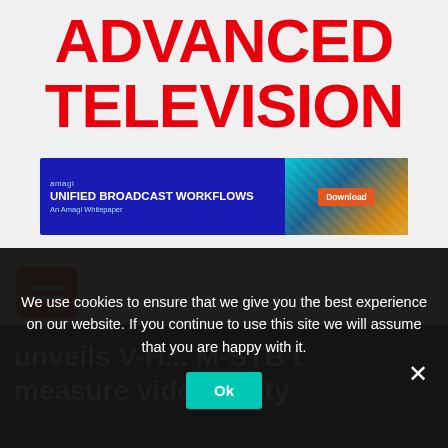ADVANCED TELEVISION
[Figure (infographic): Amagi banner ad with blue background showing 'UNIFIED BROADCAST WORKFLOWS' headline, 'An Amagi Whitepaper' subtitle, and a Download button on the right side with a colorful cityscape/light-trail image.]
[Figure (other): Red rounded rectangle hamburger menu button with two white horizontal lines.]
unveils V-H... M-STB t measure vide...uality b...ween STB...and TV
We use cookies to ensure that we give you the best experience on our website. If you continue to use this site we will assume that you are happy with it.